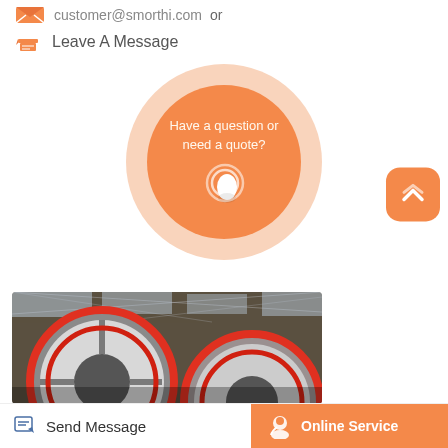customer@smorthi.com  or
Leave A Message
[Figure (infographic): Orange circular button with outer light ring, inner text 'Have a question or need a quote?' and a white hand pointer icon]
[Figure (photo): Industrial factory floor with large red and white wheel/flywheel machinery under a steel roof]
Send Message
Online Service